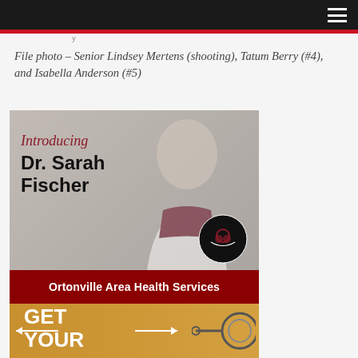Navigation bar with hamburger menu
File photo – Senior Lindsey Mertens (shooting), Tatum Berry (#4), and Isabella Anderson (#5)
[Figure (photo): Advertisement photo introducing Dr. Sarah Fischer with Ortonville Area Health Services branding. A smiling blonde woman in a white lab coat and glasses is shown. Text overlaid reads 'Introducing Dr. Sarah Fischer' with the OAHS logo. Red banner at bottom reads 'Ortonville Area Health Services'.]
[Figure (photo): Bottom portion of an advertisement with yellow/orange background showing 'GET YOUR' text and a medical scope/instrument illustration.]